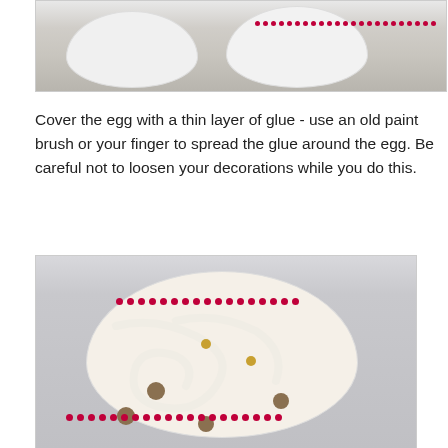[Figure (photo): Top portion showing two white egg shapes with red bead decorations on a grey background]
Cover the egg with a thin layer of glue - use an old paint brush or your finger to spread the glue around the egg. Be careful not to loosen your decorations while you do this.
[Figure (photo): Bottom photo showing an egg decorated with white glue/clay swirls, red bead chains, gold beads, and brown buttons on a light background]